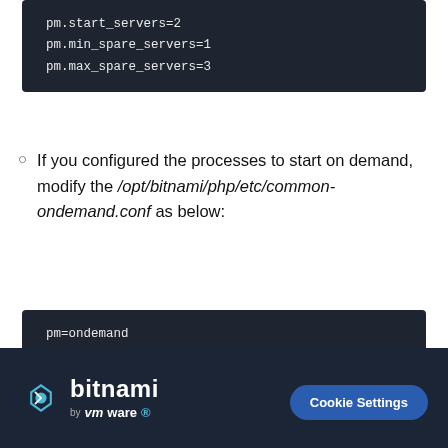[Figure (screenshot): Dark code block showing: pm.start_servers=2, pm.min_spare_servers=1, pm.max_spare_servers=3]
If you configured the processes to start on demand, modify the /opt/bitnami/php/etc/common-ondemand.conf as below:
[Figure (screenshot): Dark code block showing: pm=ondemand, pm.max_children=5, pm.start_servers=2, pm.min_spare_servers=1, pm.max_spare_servers=3]
bitnami by vmware  Cookie Settings